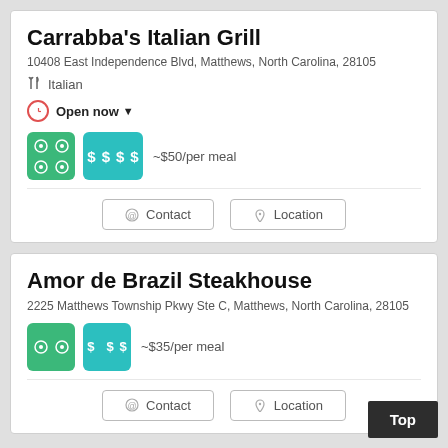Carrabba's Italian Grill
10408 East Independence Blvd, Matthews, North Carolina, 28105
Italian
Open now
~$50/per meal
Contact
Location
Amor de Brazil Steakhouse
2225 Matthews Township Pkwy Ste C, Matthews, North Carolina, 28105
~$35/per meal
Contact
Location
Top